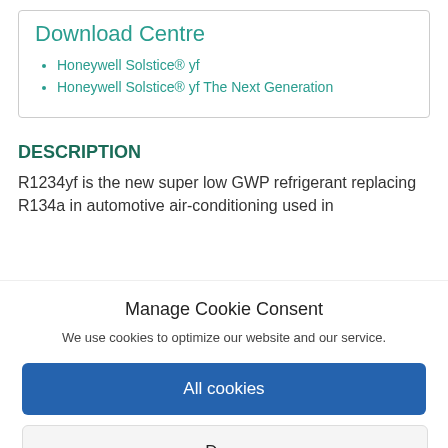Download Centre
Honeywell Solstice® yf
Honeywell Solstice® yf The Next Generation
DESCRIPTION
R1234yf is the new super low GWP refrigerant replacing R134a in automotive air-conditioning used in
Manage Cookie Consent
We use cookies to optimize our website and our service.
All cookies
Deny